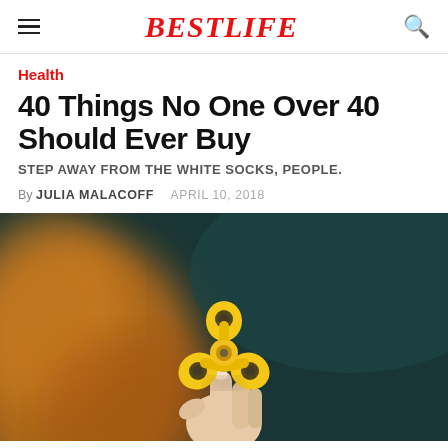BESTLIFE
Health
40 Things No One Over 40 Should Ever Buy
STEP AWAY FROM THE WHITE SOCKS, PEOPLE.
By JULIA MALACOFF   APRIL 10, 2018
[Figure (photo): A hand holding a yellow fidget spinner against a dark teal background, with a blurred orange/warm background on the left side]